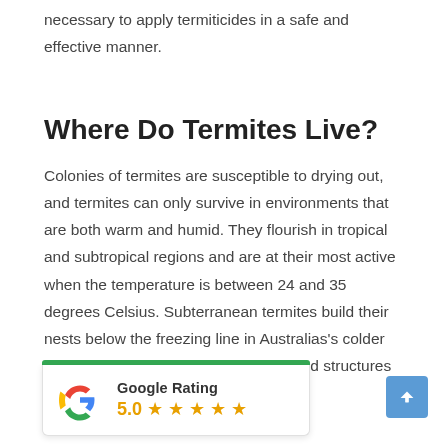necessary to apply termiticides in a safe and effective manner.
Where Do Termites Live?
Colonies of termites are susceptible to drying out, and termites can only survive in environments that are both warm and humid. They flourish in tropical and subtropical regions and are at their most active when the temperature is between 24 and 35 degrees Celsius. Subterranean termites build their nests below the freezing line in Australias's colder regions. From there, they invade heated structures like homes
[Figure (logo): Google Rating widget showing 5.0 stars with Google G logo and green top bar]